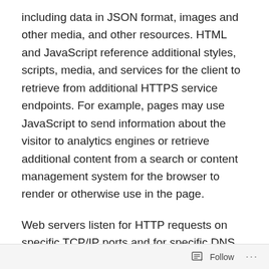including data in JSON format, images and other media, and other resources. HTML and JavaScript reference additional styles, scripts, media, and services for the client to retrieve from additional HTTPS service endpoints. For example, pages may use JavaScript to send information about the visitor to analytics engines or retrieve additional content from a search or content management system for the browser to render or otherwise use in the page.
Web servers listen for HTTP requests on specific TCP/IP ports and for specific DNS entries and IP addresses. Browsers place requests to web servers using the HTTP (unsecured) and HTTPS (encrypted) Internet protocols. Web servers respond by serving the resource that
Follow ···